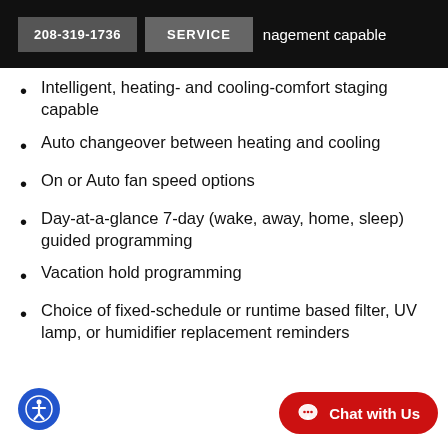208-319-1736 | SERVICE | nagement capable
Intelligent, heating- and cooling-comfort staging capable
Auto changeover between heating and cooling
On or Auto fan speed options
Day-at-a-glance 7-day (wake, away, home, sleep) guided programming
Vacation hold programming
Choice of fixed-schedule or runtime based filter, UV lamp, or humidifier replacement reminders